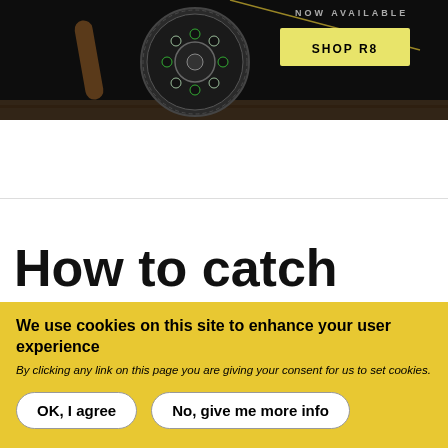[Figure (photo): Dark banner showing a fly fishing reel on a wooden surface with a fly line, with 'NOW AVAILABLE' text and a yellow 'SHOP R8' button on the right]
[Figure (logo): HATCH logo in large bold black letters on white background, with a hamburger menu icon on the left]
How to catch
We use cookies on this site to enhance your user experience
By clicking any link on this page you are giving your consent for us to set cookies.
OK, I agree
No, give me more info